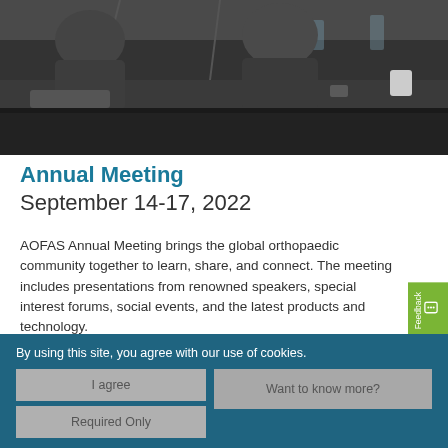[Figure (photo): Photo of people seated at a conference table with microphones, glasses of water visible, dark clothing, dimly lit setting suggesting a panel or meeting.]
Annual Meeting
September 14-17, 2022
AOFAS Annual Meeting brings the global orthopaedic community together to learn, share, and connect. The meeting includes presentations from renowned speakers, special interest forums, social events, and the latest products and technology.
Learn More
By using this site, you agree with our use of cookies.
I agree
Required Only
Want to know more?